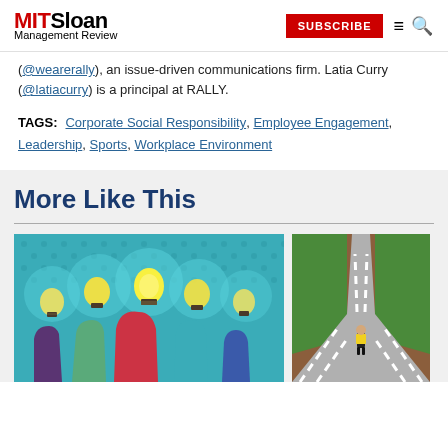MIT Sloan Management Review | SUBSCRIBE
(@wearerally), an issue-driven communications firm. Latia Curry (@latiacurry) is a principal at RALLY.
TAGS: Corporate Social Responsibility, Employee Engagement, Leadership, Sports, Workplace Environment
More Like This
[Figure (illustration): Illustration of colorful hands holding glowing light bulbs on a teal dotted background]
[Figure (illustration): Illustration of a person in yellow standing at a fork in a road with green grass and striped paths]